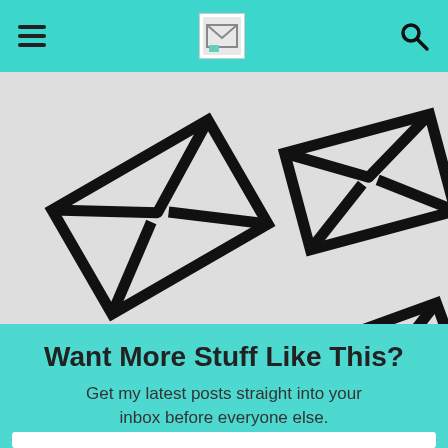[Figure (illustration): Hero image showing multiple open envelope icons on a light grey background, arranged at various angles across the image.]
Want More Stuff Like This?
Get my latest posts straight into your inbox before everyone else.